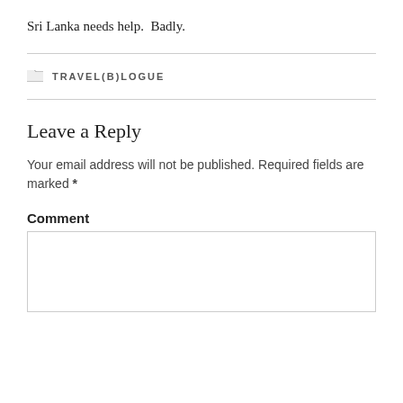Sri Lanka needs help.  Badly.
TRAVEL(B)LOGUE
Leave a Reply
Your email address will not be published. Required fields are marked *
Comment